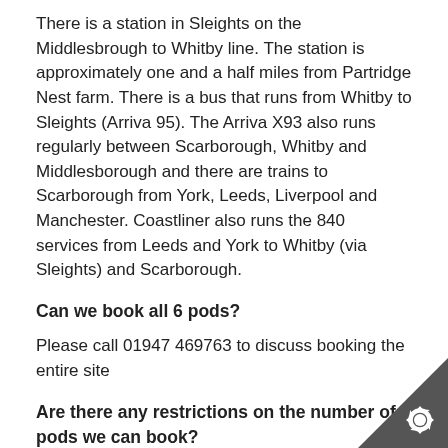There is a station in Sleights on the Middlesbrough to Whitby line. The station is approximately one and a half miles from Partridge Nest farm. There is a bus that runs from Whitby to Sleights (Arriva 95). The Arriva X93 also runs regularly between Scarborough, Whitby and Middlesborough and there are trains to Scarborough from York, Leeds, Liverpool and Manchester. Coastliner also runs the 840 services from Leeds and York to Whitby (via Sleights) and Scarborough.
Can we book all 6 pods?
Please call 01947 469763 to discuss booking the entire site
Are there any restrictions on the number of pods we can book?
Please see our booking terms and conditions for more information.
If you have any queries please contact us before you book by email hello@partridgenestpods.co.uk or call 01947 469763